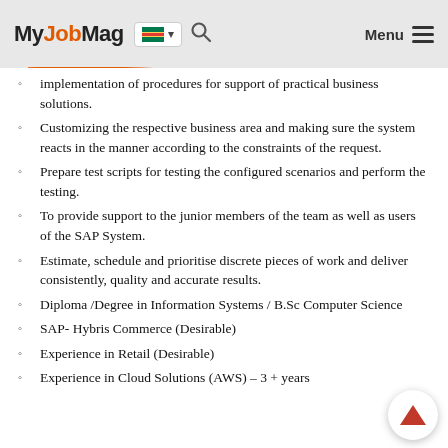MyJobMag [South Africa flag] [search] Menu
implementation of procedures for support of practical business solutions.
Customizing the respective business area and making sure the system reacts in the manner according to the constraints of the request.
Prepare test scripts for testing the configured scenarios and perform the testing.
To provide support to the junior members of the team as well as users of the SAP System.
Estimate, schedule and prioritise discrete pieces of work and deliver consistently, quality and accurate results.
Diploma /Degree in Information Systems / B.Sc Computer Science
SAP- Hybris Commerce (Desirable)
Experience in Retail (Desirable)
Experience in Cloud Solutions (AWS) – 3 + years